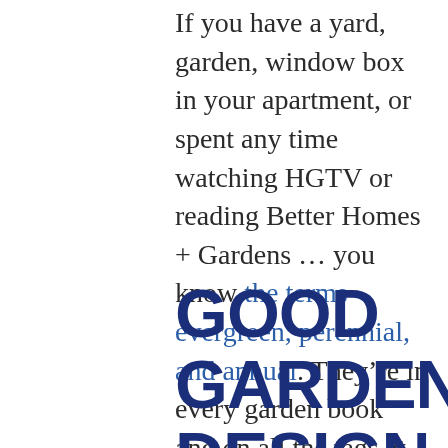If you have a yard, garden, window box in your apartment, or spent any time watching HGTV or reading Better Homes + Gardens … you know the terms evergreen, perennial, and annual. They're in every garden book and on all the tags at garden centers.
GOOD GARDEN DESIGN TELLS US